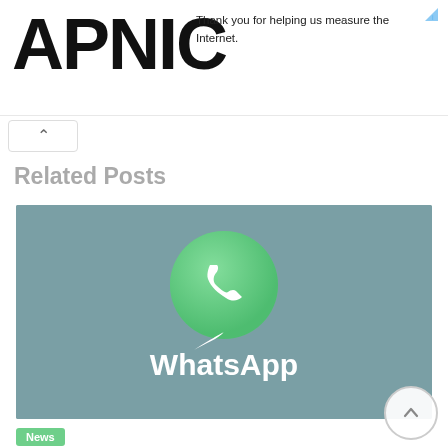APNIC
Thank you for helping us measure the Internet.
Related Posts
[Figure (photo): WhatsApp logo on a teal/grey background, featuring the green WhatsApp icon (speech bubble with phone handset) and the text 'WhatsApp' in white below it.]
News